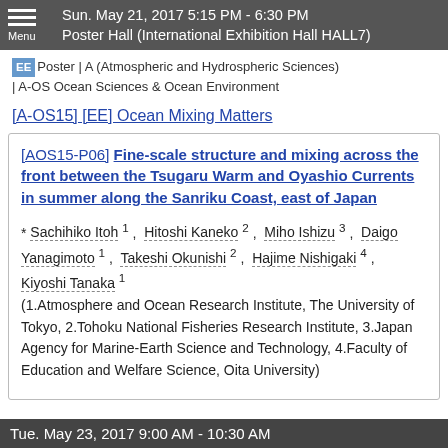Sun. May 21, 2017 5:15 PM - 6:30 PM
Poster Hall (International Exhibition Hall HALL7)
[EE] Poster | A (Atmospheric and Hydrospheric Sciences) | A-OS Ocean Sciences & Ocean Environment
[A-OS15] [EE] Ocean Mixing Matters
[AOS15-P06] Fine-scale structure and mixing across the front between the Tsugaru Warm and Oyashio Currents in summer along the Sanriku Coast, east of Japan
* Sachihiko Itoh 1, Hitoshi Kaneko 2, Miho Ishizu 3, Daigo Yanagimoto 1, Takeshi Okunishi 2, Hajime Nishigaki 4, Kiyoshi Tanaka 1
(1.Atmosphere and Ocean Research Institute, The University of Tokyo, 2.Tohoku National Fisheries Research Institute, 3.Japan Agency for Marine-Earth Science and Technology, 4.Faculty of Education and Welfare Science, Oita University)
Tue. May 23, 2017 9:00 AM - 10:30 AM